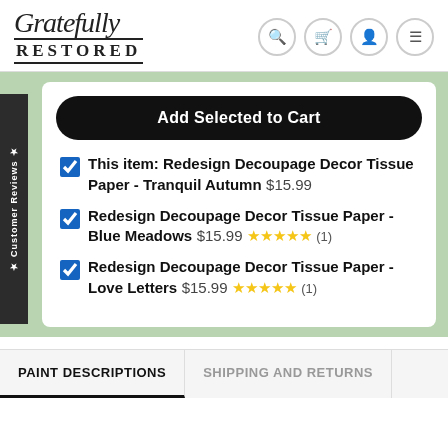Gratefully Restored
Add Selected to Cart
This item: Redesign Decoupage Decor Tissue Paper - Tranquil Autumn  $15.99
Redesign Decoupage Decor Tissue Paper - Blue Meadows  $15.99  ★★★★★ (1)
Redesign Decoupage Decor Tissue Paper - Love Letters  $15.99  ★★★★★ (1)
PAINT DESCRIPTIONS
SHIPPING AND RETURNS